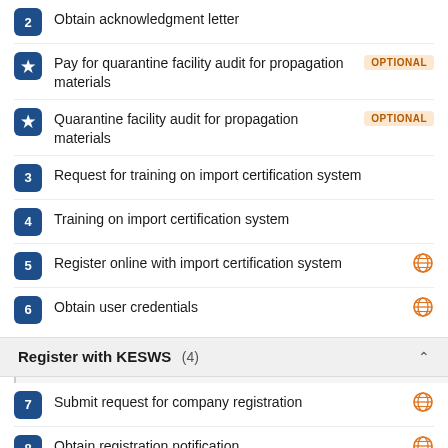2 Obtain acknowledgment letter
* Pay for quarantine facility audit for propagation materials [OPTIONAL]
* Quarantine facility audit for propagation materials [OPTIONAL]
3 Request for training on import certification system
4 Training on import certification system
5 Register online with import certification system
6 Obtain user credentials
Register with KESWS (4)
7 Submit request for company registration
8 Obtain registration notification
9 User registration
10 Obtain user credentials